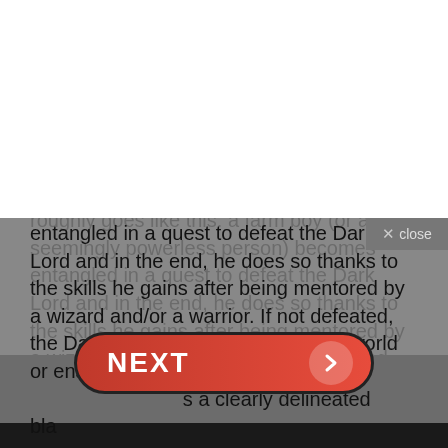show since, including Jackson's prequel Middle-earth trilogy The Hobbit, has been judged by its standards and found wanting.
The Lord of the Rings' plot has become an archetype for the fantasy genre. It goes roughly goes like this: a farm boy (or a seemingly powerless person) becomes entangled in a quest to defeat the Dark Lord and in the end, he does so thanks to the skills he gains after being mentored by a wizard and/or a warrior. If not defeated, the Dark Lord will either destroy the world or enslave it. So, the stakes are always high, and there's a clearly delineated black and white morality here.
[Figure (screenshot): A NEXT button with red gradient background and arrow, overlaid on the greyed-out text content]
[Figure (screenshot): Video player showing 'Gandalf arrives at the Shire' with a circular thumbnail of a character from the film, on a dark background with a three-dot menu icon]